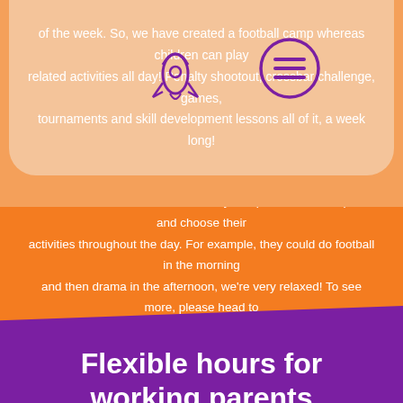of the week. So, we have created a football camp whereas children can play related activities all day! Penalty shootout, crossbar challenge, games, tournaments and skill development lessons all of it, a week long!
All children attend the same holiday camp, and can then pick and choose their activities throughout the day. For example, they could do football in the morning and then drama in the afternoon, we're very relaxed! To see more, please head to our example timetable further down the page
Flexible hours for working parents
[Figure (illustration): White person/child icon with arms raised]
[Figure (illustration): Purple rocket icon outline]
[Figure (illustration): Purple circle with three horizontal lines (menu/hamburger icon)]